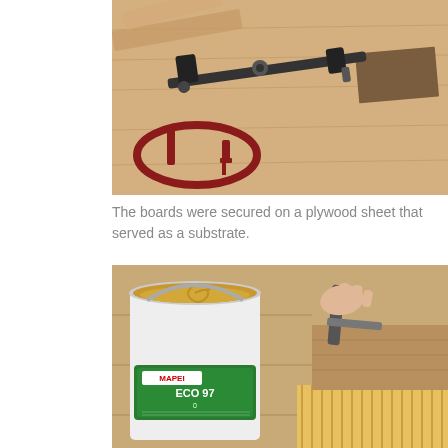[Figure (photo): Woodworking clamps (a bar clamp and a C-clamp) resting on wooden boards and planks arranged on a plywood sheet surface. One board appears darker/stained.]
The boards were secured on a plywood sheet that served as a substrate.
[Figure (photo): A white bucket of Mapei Eco 970 adhesive with yellow paste visible inside, sitting on wooden boards. To the right, a person's hand holds a notched trowel spreading adhesive on wooden planks.]